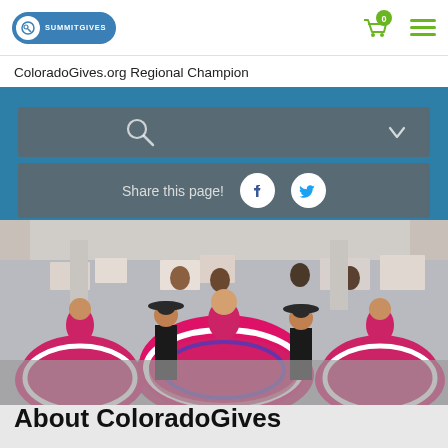SummitGives logo header with cart and hamburger menu
ColoradoGives.org Regional Champion
[Figure (screenshot): Search bar with magnifying glass icon and dropdown arrow on grey background]
[Figure (screenshot): Share this page! bar with Facebook and Twitter icons on grey background]
[Figure (photo): Crowd photo showing people in colorful pink/magenta Mexican folklorico dresses performing at what appears to be a political rally or event, with signs in the background]
About ColoradoGives